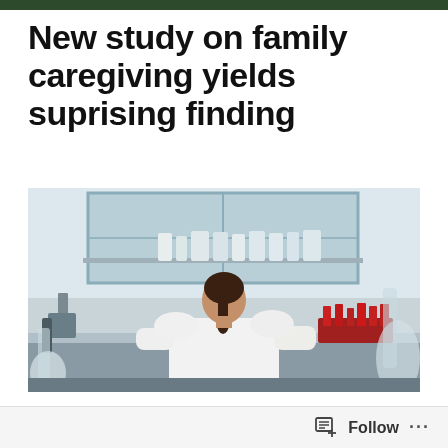New study on family caregiving yields suprising finding
[Figure (photo): A researcher in a white lab coat working at a laboratory bench surrounded by glassware, bottles, and scientific equipment, viewed from behind.]
Follow  ...